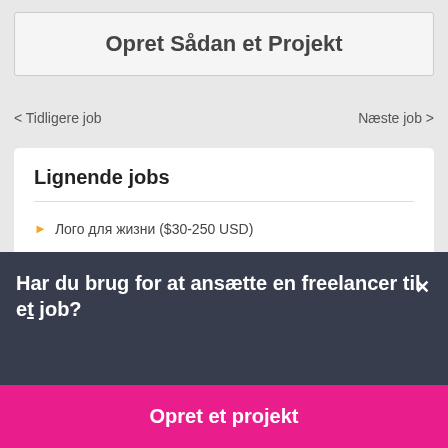Opret Sådan et Projekt
< Tidligere job
Næste job >
Lignende jobs
Лого для жизни ($30-250 USD)
Search Engine optimisation – 2 ($30-250 USD)
Har du brug for at ansætte en freelancer til et job?
Opret et projekt